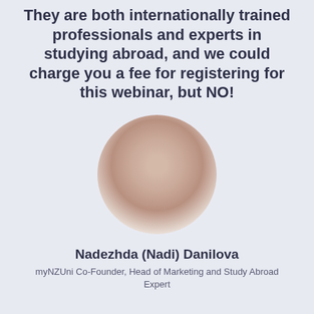They are both internationally trained professionals and experts in studying abroad, and we could charge you a fee for registering for this webinar, but NO!
[Figure (photo): Circular portrait photo of Nadezhda (Nadi) Danilova, blurred for privacy]
Nadezhda (Nadi) Danilova
myNZUni Co-Founder, Head of Marketing and Study Abroad Expert